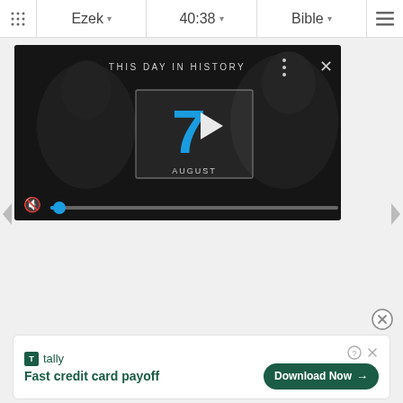⠿ Ezek ▾  40:38 ▾  Bible ▾  ≡
[Figure (screenshot): Video player showing 'THIS DAY IN HISTORY' with a large blue '7' and 'AUGUST' text overlaid on a dark background with people silhouettes. Play button triangle visible. Mute icon and blue progress dot on progress bar at bottom. Three-dot menu and X close button at top right.]
[Figure (other): Left navigation arrow on white background]
[Figure (other): Right navigation arrow on white background]
[Figure (other): Circular X close button for ad]
[Figure (screenshot): Tally app advertisement banner with logo and tagline 'Fast credit card payoff' and a 'Download Now' button with arrow. Help icon and X dismiss button at top right of ad.]